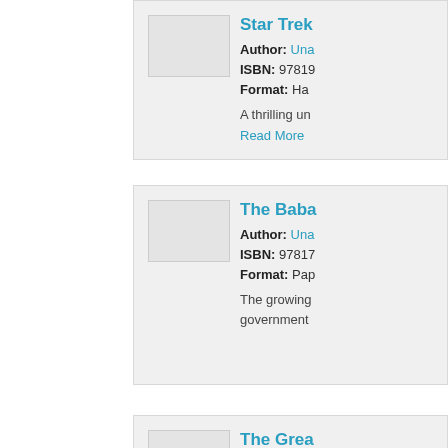Star Trek... Author: Una... ISBN: 97819... Format: Ha... A thrilling un... Read More
The Baba... Author: Una... ISBN: 97817... Format: Pap... The growing government...
The Grea... Author: Una... ISBN: 97819... Format: Pap... Read More